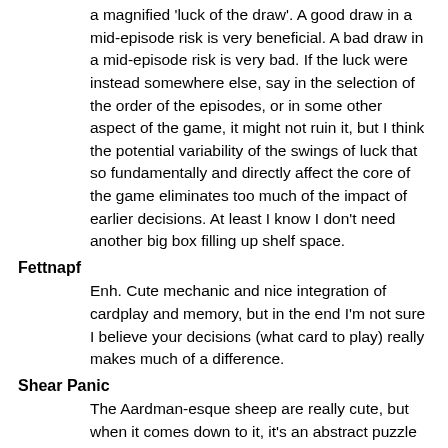a magnified 'luck of the draw'. A good draw in a mid-episode risk is very beneficial. A bad draw in a mid-episode risk is very bad. If the luck were instead somewhere else, say in the selection of the order of the episodes, or in some other aspect of the game, it might not ruin it, but I think the potential variability of the swings of luck that so fundamentally and directly affect the core of the game eliminates too much of the impact of earlier decisions. At least I know I don't need another big box filling up shelf space.
Fettnapf
Enh. Cute mechanic and nice integration of cardplay and memory, but in the end I'm not sure I believe your decisions (what card to play) really makes much of a difference.
Shear Panic
The Aardman-esque sheep are really cute, but when it comes down to it, it's an abstract puzzle game and really not that interesting of one. Plus, it seems to have some kingmaker issues which is even more annoying in a puzzle game.
Poison
This one ends. Not amazing, not a revelation, but a